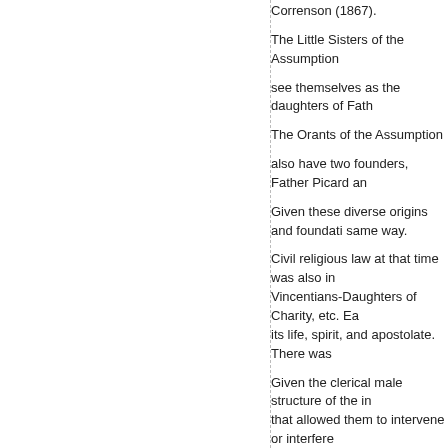Correnson (1867).
The Little Sisters of the Assumption
see themselves as the daughters of Fath…
The Orants of the Assumption
also have two founders, Father Picard an…
Given these diverse origins and foundati… same way.
Civil religious law at that time was also in… Vincentians-Daughters of Charity, etc. Ea… its life, spirit, and apostolate. There was …
Given the clerical male structure of the in… that allowed them to intervene or interfere… accepted, more or less limited, and more…
The bishop appointed an ecclesiastic… on recognized rights and duties but mo… congregation's internal affairs in terms… The list of the ecclesiastical superiors … who can provide you with a complete a… (Bishop Devereux), Richmond in 1850… Lyons in 1862, Malaga in 1865, Poitier… 1884, Rome in 1888, Leon (Nicaragua… Father Picard who had been the confe… We know the main features of this pos…
The Superior General of a pontifical c… his delegate by invoking the directives… At the end of the line, the simple ordina… the Superior General), those of the Su…
confessor, and the counsels of her spi… each other, there were many possible … not lacking.